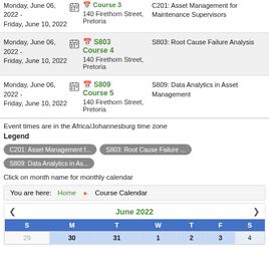| Date |  | Course | Description |
| --- | --- | --- | --- |
| Monday, June 06, 2022 - Friday, June 10, 2022 | [cal] | S803 Course 4
140 Firethorn Street, Pretoria | S803: Root Cause Failure Analysis |
| Monday, June 06, 2022 - Friday, June 10, 2022 | [cal] | S809 Course 5
140 Firethorn Street, Pretoria | S809: Data Analytics in Asset Management |
Event times are in the Africa/Johannesburg time zone
Legend
C201: Asset Management f...
S803: Root Cause Failure ...
S809: Data Analytics in As...
Click on month name for monthly calendar
You are here: Home ▶ Course Calendar
[Figure (other): June 2022 monthly calendar grid with navigation arrows, days S M T W T F S, and first row showing dates 29, 30, 31, 1, 2, 3, 4]